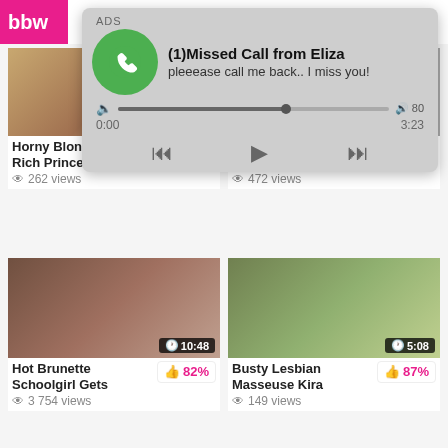bbw
[Figure (screenshot): ADS notification overlay showing a missed call from Eliza with audio player controls. Title: (1)Missed Call from Eliza. Subtitle: pleeease call me back.. I miss you! Audio progress bar shown at approximately 62%. Time 0:00 / 3:23. Rewind, Play, and Fast-forward controls.]
Horny Blonde Rich Princess
80%
262 views
Extremely Cute Cam Girl With
83%
472 views
[Figure (photo): Video thumbnail showing Hot Brunette Schoolgirl Gets, duration 10:48]
Hot Brunette Schoolgirl Gets
82%
3 754 views
[Figure (photo): Video thumbnail showing Busty Lesbian Masseuse Kira, duration 5:08]
Busty Lesbian Masseuse Kira
87%
149 views